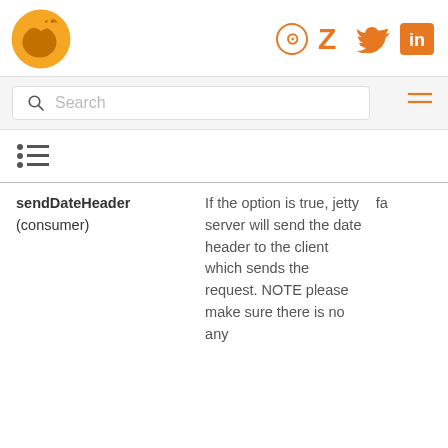Logo and social icons header
Search
[Figure (other): Table of contents list icon]
| Name | Description | Default |
| --- | --- | --- |
| sendDateHeader (consumer) | If the option is true, jetty server will send the date header to the client which sends the request. NOTE please make sure there is no any | fa |